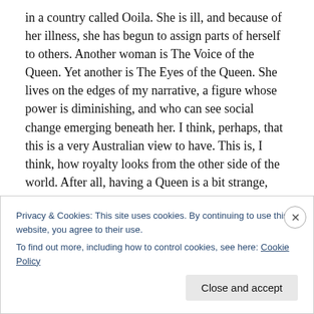in a country called Ooila. She is ill, and because of her illness, she has begun to assign parts of herself to others. Another woman is The Voice of the Queen. Yet another is The Eyes of the Queen. She lives on the edges of my narrative, a figure whose power is diminishing, and who can see social change emerging beneath her. I think, perhaps, that this is a very Australian view to have. This is, I think, how royalty looks from the other side of the world. After all, having a Queen is a bit strange, when you think about it.
Privacy & Cookies: This site uses cookies. By continuing to use this website, you agree to their use.
To find out more, including how to control cookies, see here: Cookie Policy